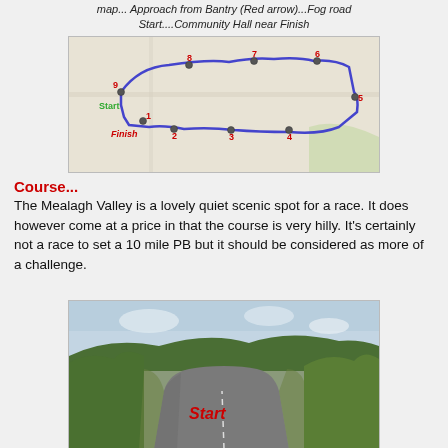map... Approach from Bantry (Red arrow)...Fog road Start....Community Hall near Finish
[Figure (map): Route map showing a 10-mile running course near Mealagh Valley with numbered waypoints 1-9, Start and Finish labels marked in green/red, route shown as blue line on road map background.]
Course...
The Mealagh Valley is a lovely quiet scenic spot for a race. It does however come at a price in that the course is very hilly. It's certainly not a race to set a 10 mile PB but it should be considered as more of a challenge.
[Figure (photo): Photograph of a narrow rural road lined with hedges and trees, with 'Start' written in red italic text overlaid on the image.]